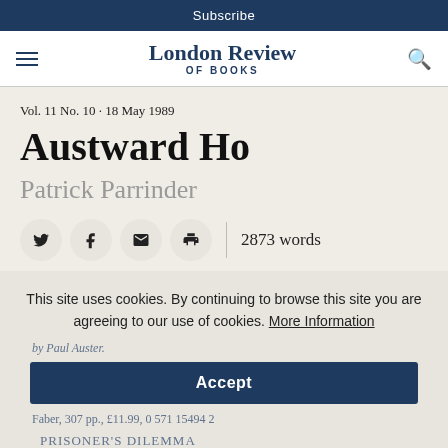Subscribe
[Figure (logo): London Review of Books logo with hamburger menu and search icon]
Vol. 11 No. 10 · 18 May 1989
Austward Ho
Patrick Parrinder
2873 words
This site uses cookies. By continuing to browse this site you are agreeing to our use of cookies. More Information
by Paul Auster.
Faber, 307 pp., £11.99, 0 571 15494 2
Prisoner's Dilemma